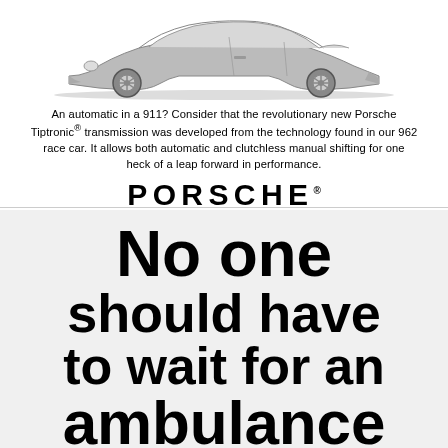[Figure (illustration): Grayscale illustration of a Porsche 911 car viewed from a three-quarter front angle, drawn in a halftone/print style.]
An automatic in a 911? Consider that the revolutionary new Porsche Tiptronic® transmission was developed from the technology found in our 962 race car. It allows both automatic and clutchless manual shifting for one heck of a leap forward in performance.
PORSCHE®
No one should have to wait for an ambulance